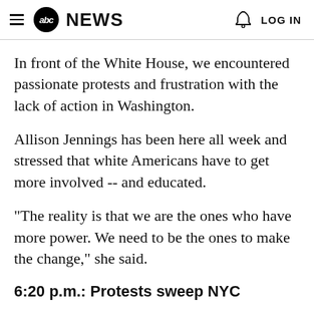abc NEWS  LOG IN
In front of the White House, we encountered passionate protests and frustration with the lack of action in Washington.
Allison Jennings has been here all week and stressed that white Americans have to get more involved -- and educated.
"The reality is that we are the ones who have more power. We need to be the ones to make the change," she said.
6:20 p.m.: Protests sweep NYC
An estimated 20,000 people protested